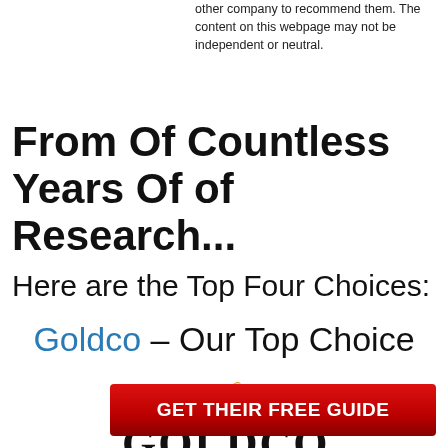other company to recommend them. The content on this webpage may not be independent or neutral.
From Of Countless Years Of of Research...
Here are the Top Four Choices:
Goldco – Our Top Choice
[Figure (logo): Goldco logo with golden flame/swirl graphic above the text GOLDCO in large serif letters with registered trademark symbol]
GET THEIR FREE GUIDE